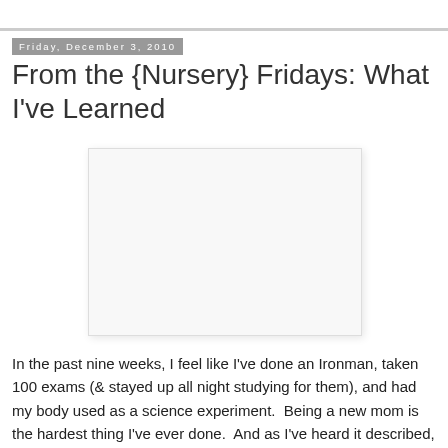Friday, December 3, 2010
From the {Nursery} Fridays: What I've Learned
[Figure (photo): White/blank image placeholder]
In the past nine weeks, I feel like I've done an Ironman, taken 100 exams (& stayed up all night studying for them), and had my body used as a science experiment.  Being a new mom is the hardest thing I've ever done.  And as I've heard it described, "hardest and best" thing I've ever done.